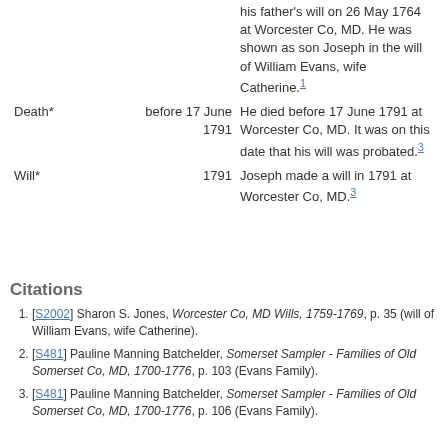| Event | Date | Description |
| --- | --- | --- |
|  |  | his father's will on 26 May 1764 at Worcester Co, MD. He was shown as son Joseph in the will of William Evans, wife Catherine.1 |
| Death* | before 17 June 1791 | He died before 17 June 1791 at Worcester Co, MD. It was on this date that his will was probated.3 |
| Will* | 1791 | Joseph made a will in 1791 at Worcester Co, MD.3 |
Citations
[S2002] Sharon S. Jones, Worcester Co, MD Wills, 1759-1769, p. 35 (will of William Evans, wife Catherine).
[S481] Pauline Manning Batchelder, Somerset Sampler - Families of Old Somerset Co, MD, 1700-1776, p. 103 (Evans Family).
[S481] Pauline Manning Batchelder, Somerset Sampler - Families of Old Somerset Co, MD, 1700-1776, p. 106 (Evans Family).